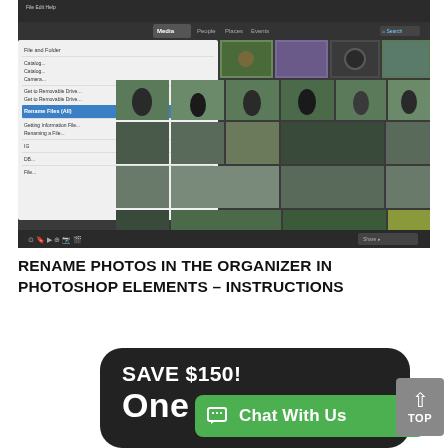[Figure (screenshot): Screenshot of Photoshop Elements Organizer showing a photo library with multiple thumbnail images of outdoor scenes, backyard, garden, and a dropdown menu open on the left side showing file options including 'Rename Files (All)' highlighted in blue.]
RENAME PHOTOS IN THE ORGANIZER IN PHOTOSHOP ELEMENTS – INSTRUCTIONS
[Figure (screenshot): Advertisement showing a dark rounded rectangle with 'SAVE $150!' in white bold text and 'One' partially visible, along with a green 'Chat With Us' button with a chat icon, and a gray 'TOP' button with an up arrow on the right.]